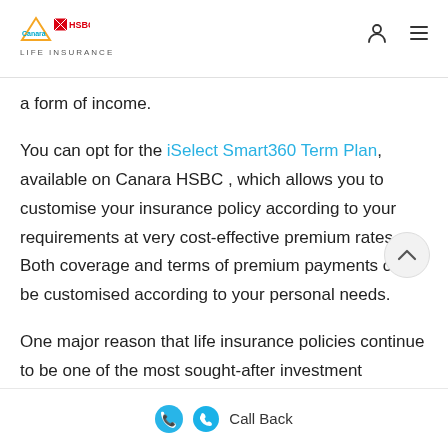Canara HSBC Life Insurance
a form of income.
You can opt for the iSelect Smart360 Term Plan, available on Canara HSBC , which allows you to customise your insurance policy according to your requirements at very cost-effective premium rates. Both coverage and terms of premium payments can be customised according to your personal needs.
One major reason that life insurance policies continue to be one of the most sought-after investment instruments are the tax benefits available with them. Life insurance tax benefits
Call Back